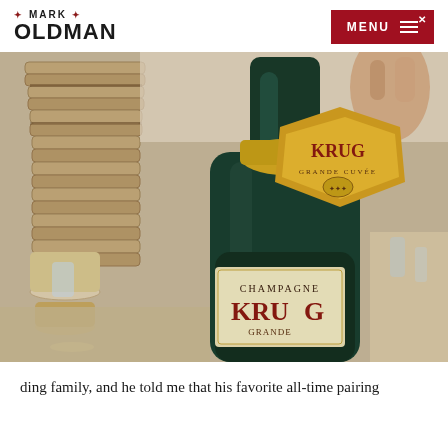MARK OLDMAN
[Figure (photo): A close-up photo of a hand holding a bottle of Krug Grande Cuvée Champagne, with stacked dim sum steamers in the background and a restaurant table setting visible.]
ding family, and he told me that his favorite all-time pairing